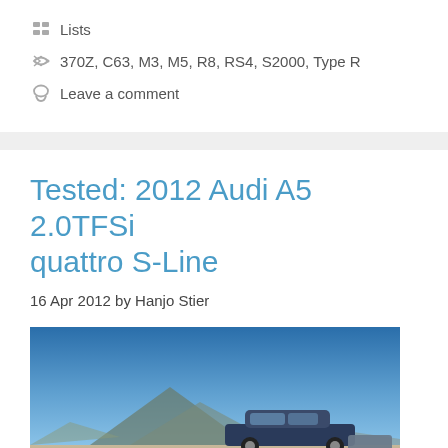Lists
370Z, C63, M3, M5, R8, RS4, S2000, Type R
Leave a comment
Tested: 2012 Audi A5 2.0TFSi quattro S-Line
16 Apr 2012 by Hanjo Stier
[Figure (photo): Photo of a car (Audi A5) with a mountain and blue sky in the background]